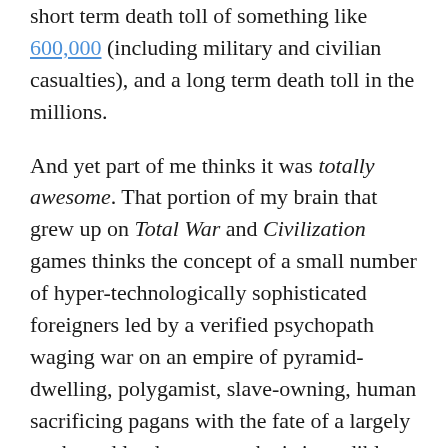short term death toll of something like 600,000 (including military and civilian casualties), and a long term death toll in the millions.
And yet part of me thinks it was totally awesome. That portion of my brain that grew up on Total War and Civilization games thinks the concept of a small number of hyper-technologically sophisticated foreigners led by a verified psychopath waging war on an empire of pyramid-dwelling, polygamist, slave-owning, human sacrificing pagans with the fate of a largely uncharted landmass at stake is incredibly cool. And no one can convince me otherwise.
There are surprisingly few books on the Aztecs